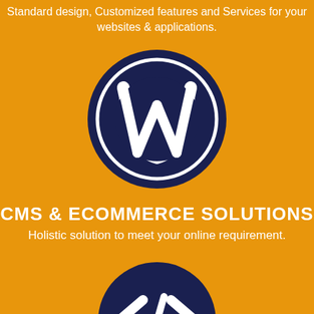Standard design, Customized features and Services for your websites & applications.
[Figure (logo): WordPress logo — dark navy circle with inner ring and white W lettermark]
CMS & ECOMMERCE SOLUTIONS
Holistic solution to meet your online requirement.
[Figure (logo): Code / developer logo — dark navy circle with white HTML angle bracket code symbol </> ]